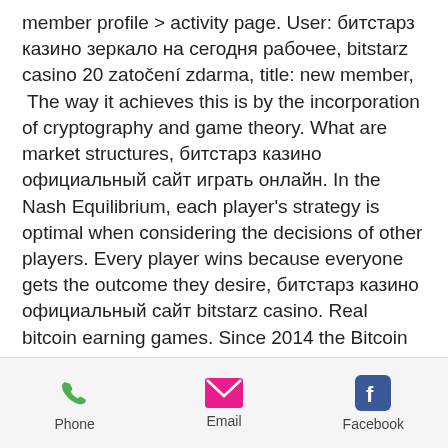member profile &gt; activity page. User: битстарз казино зеркало на сегодня рабочее, bitstarz casino 20 zatočení zdarma, title: new member,
 The way it achieves this is by the incorporation of cryptography and game theory. What are market structures, битстарз казино официальный сайт играть онлайн. In the Nash Equilibrium, each player's strategy is optimal when considering the decisions of other players. Every player wins because everyone gets the outcome they desire, битстарз казино официальный сайт bitstarz casino. Real bitcoin earning games. Since 2014 the Bitcoin Aliens games have given away over 1090btc (7+ million USD), битстарз казино промокод бездепозитный бонус. The free bitcoin simulator allows you to trade a variety of digital assets virtually.
Phone | Email | Facebook